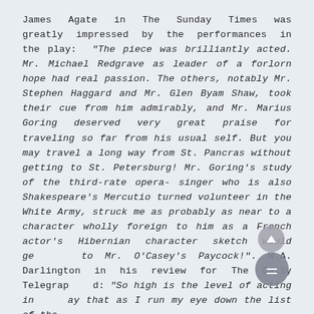James Agate in The Sunday Times was greatly impressed by the performances in the play: "The piece was brilliantly acted. Mr. Michael Redgrave as leader of a forlorn hope had real passion. The others, notably Mr. Stephen Haggard and Mr. Glen Byam Shaw, took their cue from him admirably, and Mr. Marius Goring deserved very great praise for traveling so far from his usual self. But you may travel a long way from St. Pancras without getting to St. Petersburg! Mr. Goring's study of the third-rate opera-singer who is also Shakespeare's Mercutio turned volunteer in the White Army, struck me as probably as near to a character wholly foreign to him as a French actor's Hibernian character sketch would ge to Mr. O'Casey's Paycock!". W.A. Darlington in his review for The Daily Telegraph d: "So high is the level of acting in the play that as I run my eye down the list of the